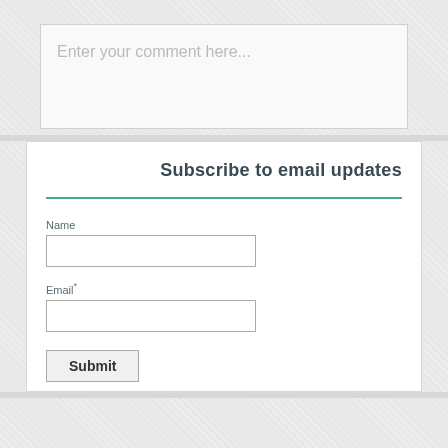Enter your comment here...
Subscribe to email updates
Name
Email*
Submit